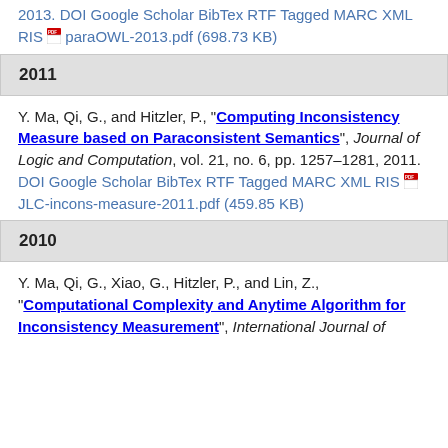2013. DOI Google Scholar BibTex RTF Tagged MARC XML RIS [pdf] paraOWL-2013.pdf (698.73 KB)
2011
Y. Ma, Qi, G., and Hitzler, P., "Computing Inconsistency Measure based on Paraconsistent Semantics", Journal of Logic and Computation, vol. 21, no. 6, pp. 1257–1281, 2011. DOI Google Scholar BibTex RTF Tagged MARC XML RIS [pdf] JLC-incons-measure-2011.pdf (459.85 KB)
2010
Y. Ma, Qi, G., Xiao, G., Hitzler, P., and Lin, Z., "Computational Complexity and Anytime Algorithm for Inconsistency Measurement", International Journal of